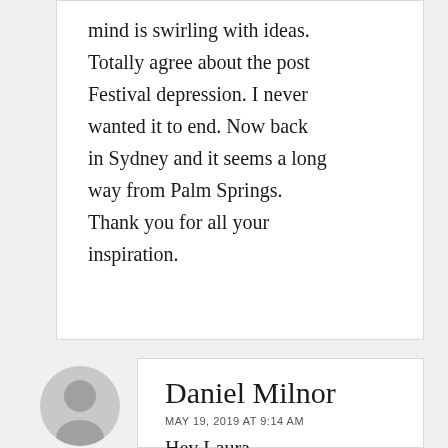mind is swirling with ideas. Totally agree about the post Festival depression. I never wanted it to end. Now back in Sydney and it seems a long way from Palm Springs. Thank you for all your inspiration.
[Figure (illustration): Gray circular avatar/user icon with POST AUTHOR label below]
Daniel Milnor
MAY 19, 2019 AT 9:14 AM
Hey Laura,